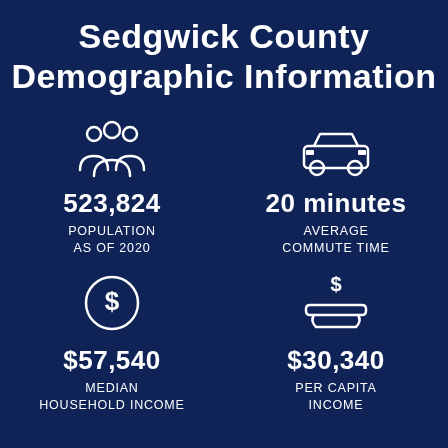Sedgwick County Demographic Information
[Figure (infographic): Infographic with four demographic statistics: Population 523,824 as of 2020 (people icon), Average Commute Time 20 minutes (car icon), Median Household Income $57,540 (dollar coin icon), Per Capita Income $30,340 (hand with dollar icon)]